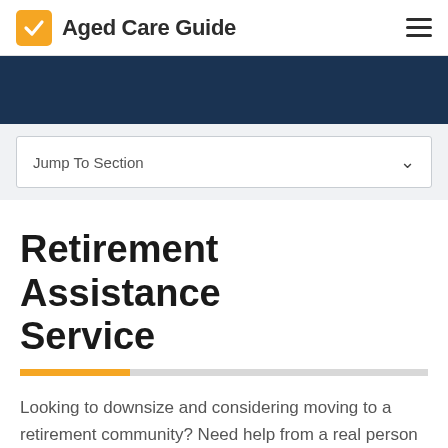Aged Care Guide
[Figure (other): Dark navy banner background strip]
Jump To Section
Retirement Assistance Service
Looking to downsize and considering moving to a retirement community? Need help from a real person to